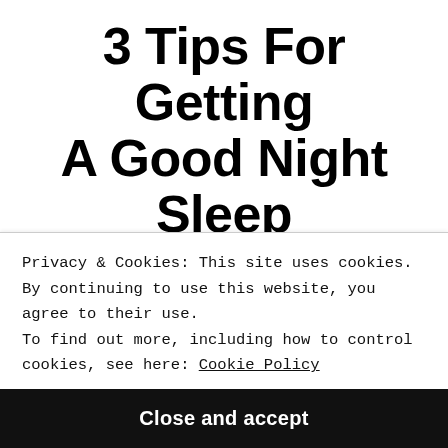3 Tips For Getting A Good Night Sleep With Psoriatic Arthritis
Privacy & Cookies: This site uses cookies. By continuing to use this website, you agree to their use. To find out more, including how to control cookies, see here: Cookie Policy
Close and accept